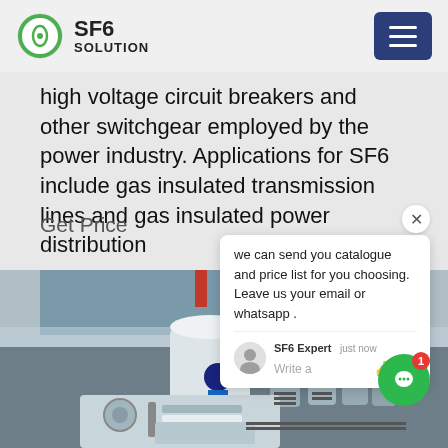SF6 SOLUTION
high voltage circuit breakers and other switchgear employed by the power industry. Applications for SF6 include gas insulated transmission lines and gas insulated power distribution
Get Price
[Figure (photo): Industrial SF6 gas equipment at a power substation with a worker in blue coveralls among large cylindrical tanks and gas cylinders]
we can send you catalogue and price list for you choosing.
Leave us your email or whatsapp .
SF6 Expert   just now
Write a